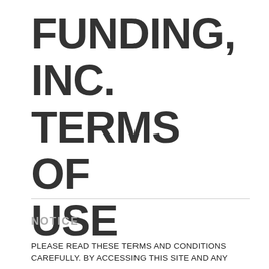FUNDING, INC. TERMS OF USE
NOTICE
PLEASE READ THESE TERMS AND CONDITIONS CAREFULLY. BY ACCESSING THIS SITE AND ANY